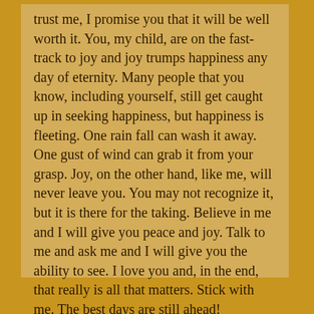trust me, I promise you that it will be well worth it. You, my child, are on the fast-track to joy and joy trumps happiness any day of eternity. Many people that you know, including yourself, still get caught up in seeking happiness, but happiness is fleeting. One rain fall can wash it away. One gust of wind can grab it from your grasp. Joy, on the other hand, like me, will never leave you. You may not recognize it, but it is there for the taking. Believe in me and I will give you peace and joy. Talk to me and ask me and I will give you the ability to see. I love you and, in the end, that really is all that matters. Stick with me. The best days are still ahead!